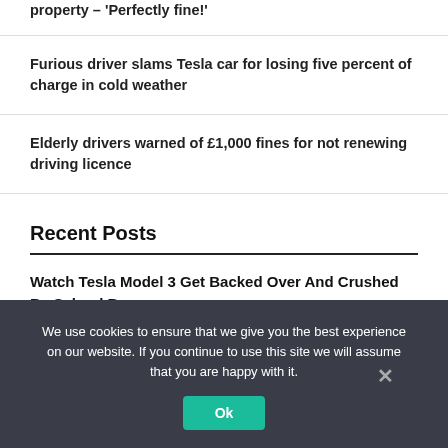property – 'Perfectly fine!'
Furious driver slams Tesla car for losing five percent of charge in cold weather
Elderly drivers warned of £1,000 fines for not renewing driving licence
Recent Posts
Watch Tesla Model 3 Get Backed Over And Crushed By School Bus
We use cookies to ensure that we give you the best experience on our website. If you continue to use this site we will assume that you are happy with it.